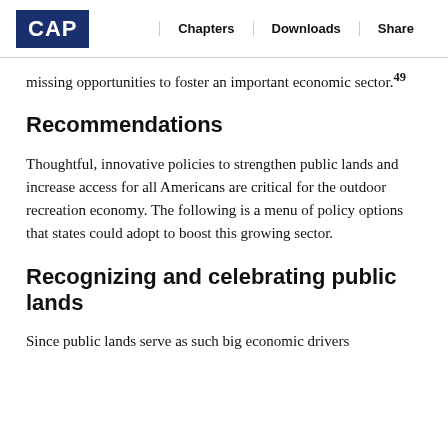CAP | Chapters | Downloads | Share
missing opportunities to foster an important economic sector.49
Recommendations
Thoughtful, innovative policies to strengthen public lands and increase access for all Americans are critical for the outdoor recreation economy. The following is a menu of policy options that states could adopt to boost this growing sector.
Recognizing and celebrating public lands
Since public lands serve as such big economic drivers